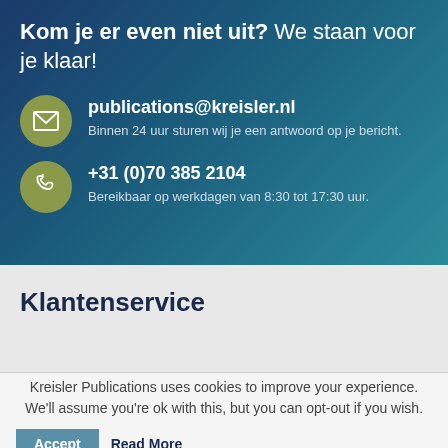Kom je er even niet uit? We staan voor je klaar!
publications@kreisler.nl
Binnen 24 uur sturen wij je een antwoord op je bericht.
+31 (0)70 385 2104
Bereikbaar op werkdagen van 8:30 tot 17:30 uur.
Klantenservice
Kreisler Publications uses cookies to improve your experience. We'll assume you're ok with this, but you can opt-out if you wish.
Accept  Read More